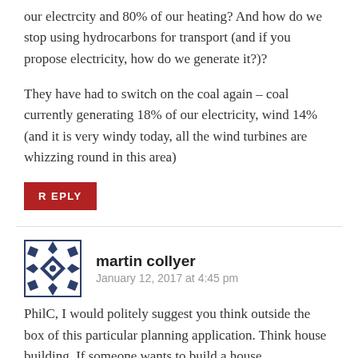our electrcity and 80% of our heating? And how do we stop using hydrocarbons for transport (and if you propose electricity, how do we generate it?)?
They have had to switch on the coal again – coal currently generating 18% of our electricity, wind 14% (and it is very windy today, all the wind turbines are whizzing round in this area)
REPLY
[Figure (logo): Avatar icon for martin collyer — geometric diamond/snowflake pattern in dark navy blue]
martin collyer
January 12, 2017 at 4:45 pm
PhilC, I would politely suggest you think outside the box of this particular planning application. Think house building. If someone wants to build a house